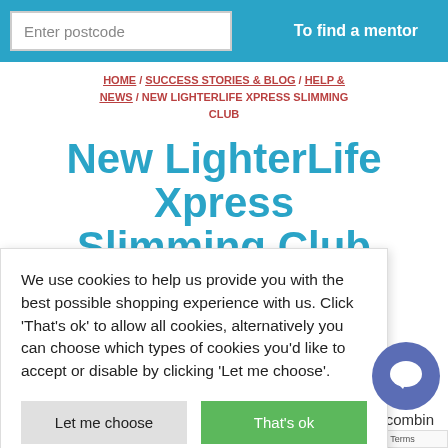Enter postcode | To find a mentor
HOME / SUCCESS STORIES & BLOG / HELP & NEWS / NEW LIGHTERLIFE XPRESS SLIMMING CLUB
New LighterLife Xpress Slimming Club
We use cookies to help us provide you with the best possible shopping experience with us. Click 'That's ok' to allow all cookies, alternatively you can choose which types of cookies you'd like to accept or disable by clicking 'Let me choose'.
...to the UK for
...combin... ...y meeting...